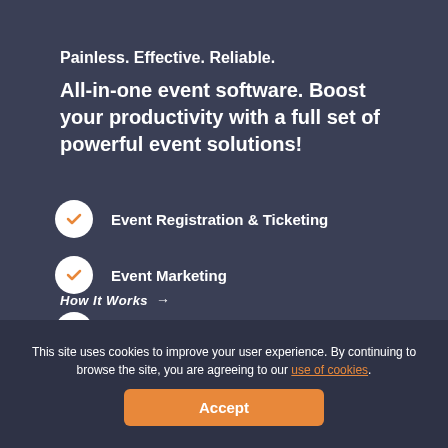Painless. Effective. Reliable.
All-in-one event software. Boost your productivity with a full set of powerful event solutions!
Event Registration & Ticketing
Event Marketing
Event Analytics & Management Tools
How It Works →
This site uses cookies to improve your user experience. By continuing to browse the site, you are agreeing to our use of cookies.
Accept